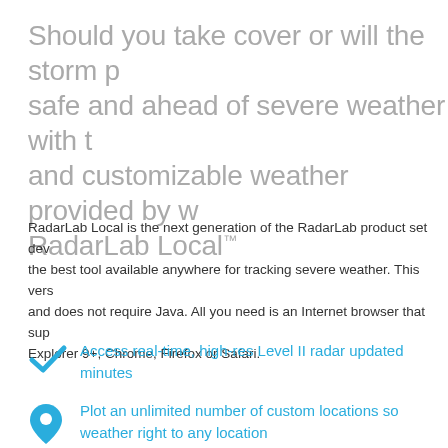Should you take cover or will the storm pass? Stay safe and ahead of severe weather with the powerful and customizable weather provided by w... RadarLab Local™
RadarLab Local is the next generation of the RadarLab product set dev... the best tool available anywhere for tracking severe weather. This vers... and does not require Java. All you need is an Internet browser that sup... Explorer 9+, Chrome, Firefox or Safari.
Access real-time, high-res Level II radar updated... minutes
Plot an unlimited number of custom locations so... weather right to any location